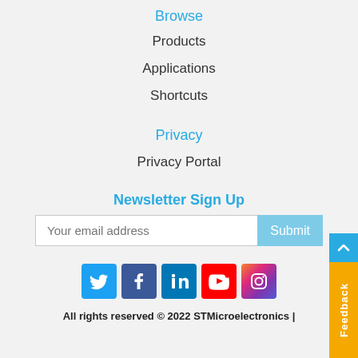Browse
Products
Applications
Shortcuts
Privacy
Privacy Portal
Newsletter Sign Up
Your email address
All rights reserved © 2022 STMicroelectronics |